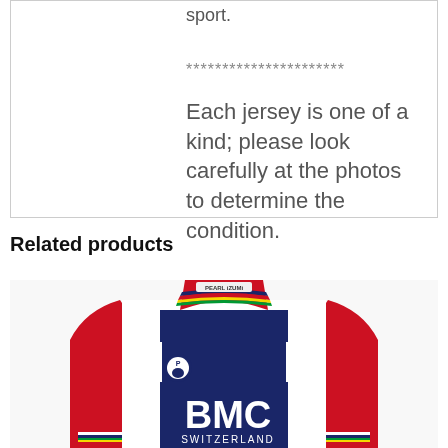sport.
**********************
Each jersey is one of a kind; please look carefully at the photos to determine the condition.
Related products
[Figure (photo): A red, white and blue BMC Switzerland cycling jersey with Pearl Izumi branding and rainbow stripes on the collar, laid flat on a white background.]